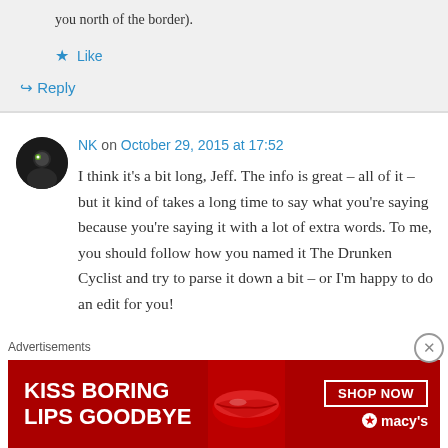you north of the border).
★ Like
↳ Reply
NK on October 29, 2015 at 17:52
I think it's a bit long, Jeff. The info is great – all of it – but it kind of takes a long time to say what you're saying because you're saying it with a lot of extra words. To me, you should follow how you named it The Drunken Cyclist and try to parse it down a bit – or I'm happy to do an edit for you!
Advertisements
[Figure (other): Macy's advertisement banner: KISS BORING LIPS GOODBYE with SHOP NOW button and Macy's logo with red star]